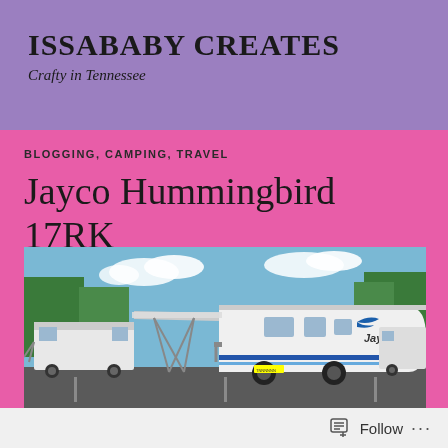ISSABABY CREATES
Crafty in Tennessee
BLOGGING, CAMPING, TRAVEL
Jayco Hummingbird 17RK Camper
[Figure (photo): Exterior photo of a white Jayco Hummingbird 17RK camper trailer parked in a lot with awning extended, other RVs and trees visible in the background.]
Follow ...